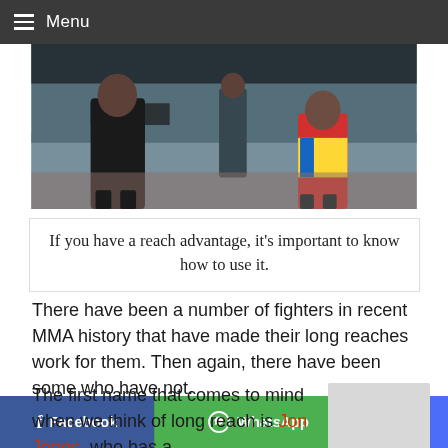Menu
[Figure (photo): MMA fighters in a cage/octagon setting. Two fighters visible, one in dark shorts and one in colorful red/yellow/blue shorts. A referee is present in the background. An 'ONE' championship logo banner is visible.]
If you have a reach advantage, it's important to know how to use it.
There have been a number of fighters in recent MMA history that have made their long reaches work for them. Then again, there have been some who have not.
The first name that comes to mind when we think of long reach is Jon Jones, who has a